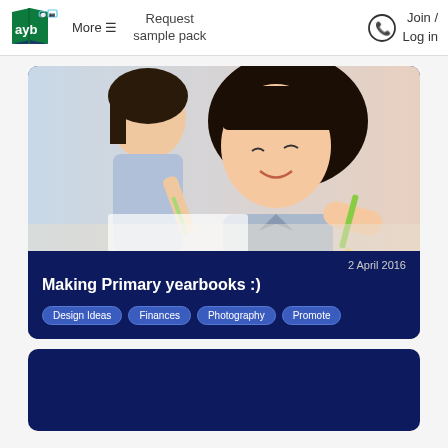ayb | More ☰ | Request sample pack | Join / Log in
[Figure (photo): Two young Asian girls writing/drawing at a desk in a classroom, smiling, school setting]
2 April 2016
Making Primary yearbooks :)
Design Ideas
Finances
Photography
Promote